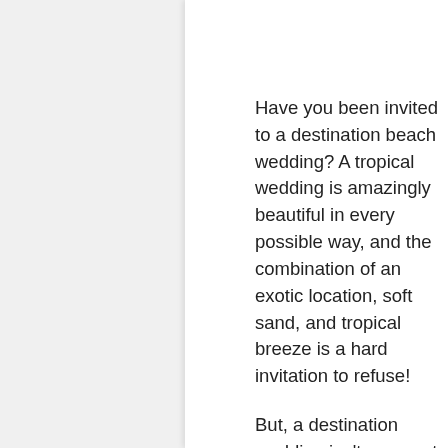Have you been invited to a destination beach wedding? A tropical wedding is amazingly beautiful in every possible way, and the combination of an exotic location, soft sand, and tropical breeze is a hard invitation to refuse!
But, a destination wedding isn't an event where you can pull off a last minute outfit – it's something you'll need to plan for, pack, and you may find yourself requiring outfits for events over multiple days.
When it comes to dressing for a beach wedding, you have tons of options, from various fabrics,